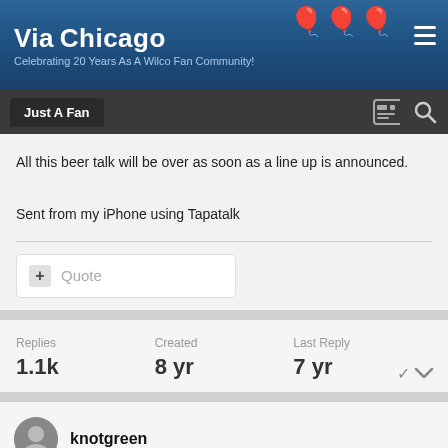Via Chicago – Celebrating 20 Years As A Wilco Fan Community!
All this beer talk will be over as soon as a line up is announced.
Sent from my iPhone using Tapatalk
+ Quote
Replies 1.1k  Created 8 yr  Last Reply 7 yr
knotgreen